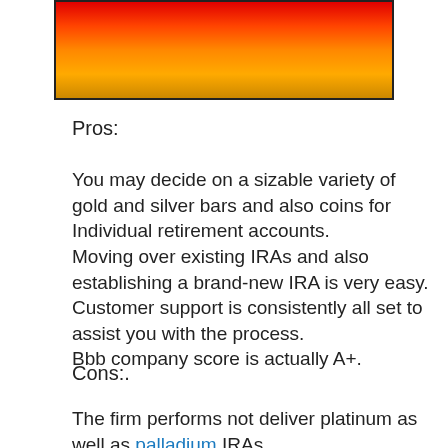[Figure (illustration): A rectangular box with a gradient fill from red at the top to orange/gold at the bottom, bordered by a dark outline.]
Pros:
You may decide on a sizable variety of gold and silver bars and also coins for Individual retirement accounts.
Moving over existing IRAs and also establishing a brand-new IRA is very easy.
Customer support is consistently all set to assist you with the process.
Bbb company score is actually A+.
Cons:.
The firm performs not deliver platinum as well as palladium IRAs.